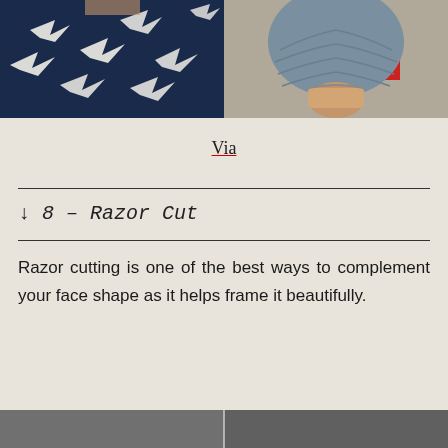[Figure (photo): Two photos side by side: left shows a person wearing a dark navy blue t-shirt with white bird/swallow print pattern; right shows the back view of a person with a short blue-gray bob haircut with shaved nape]
Via
↓ 8 – Razor Cut
Razor cutting is one of the best ways to complement your face shape as it helps frame it beautifully.
[Figure (photo): Bottom edge of another photo, partially visible]